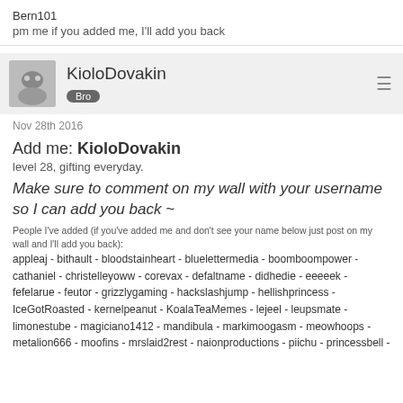Bern101
pm me if you added me, I'll add you back
KioloDovakin
Bro
Nov 28th 2016
Add me: KioloDovakin
level 28, gifting everyday.
Make sure to comment on my wall with your username so I can add you back ~
People I've added (if you've added me and don't see your name below just post on my wall and I'll add you back):
appleaj - bithault - bloodstainheart - bluelettermedia - boomboompower - cathaniel - christelleyoww - corevax - defaltname - didhedie - eeeeek - fefelarue - feutor - grizzlygaming - hackslashjump - hellishprincess - IceGotRoasted - kernelpeanut - KoalaTeaMemes - lejeel - leupsmate - limonestube - magiciano1412 - mandibula - markimoogasm - meowhoops - metalion666 - moofins - mrslaid2rest - naionproductions - piichu - princessbell -